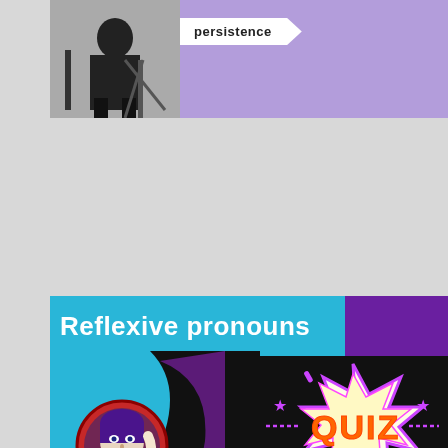[Figure (illustration): Top banner with purple/lavender background, black-and-white photo of a person on the left, and an arrow-shaped white label reading 'persistence' on the right.]
[Figure (illustration): Middle banner with dark background. Blue header bar reads 'Reflexive pronouns'. Below is a pop-art style illustration of a woman looking into a mirror, with a neon-glow 'QUIZ' explosion badge on the right side.]
[Figure (illustration): Bottom banner with teal background, a magenta/pink block on the far left, a gold ball, and a white panel reading 'A BBC Open University Partnership'.]